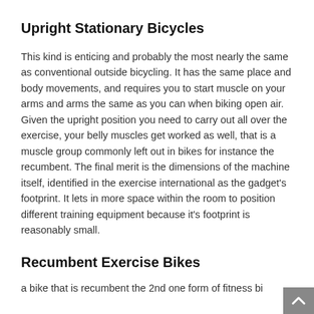Upright Stationary Bicycles
This kind is enticing and probably the most nearly the same as conventional outside bicycling. It has the same place and body movements, and requires you to start muscle on your arms and arms the same as you can when biking open air. Given the upright position you need to carry out all over the exercise, your belly muscles get worked as well, that is a muscle group commonly left out in bikes for instance the recumbent. The final merit is the dimensions of the machine itself, identified in the exercise international as the gadget's footprint. It lets in more space within the room to position different training equipment because it's footprint is reasonably small.
Recumbent Exercise Bikes
a bike that is recumbent the 2nd one form of fitness bi